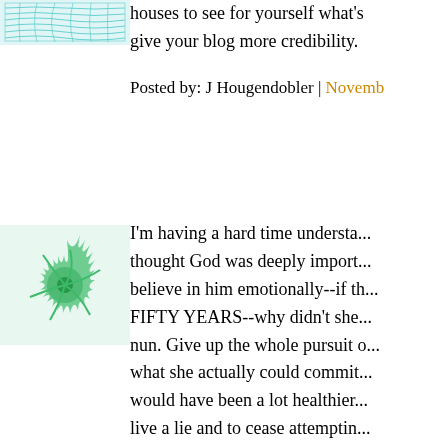[Figure (illustration): Teal/cyan grid mesh avatar image, partially visible at top]
houses to see for yourself what's give your blog more credibility.
Posted by: J Hougendobler | Novemb...
[Figure (illustration): Green spiral/starburst pattern avatar image]
I'm having a hard time understa... thought God was deeply import... believe in him emotionally--if th... FIFTY YEARS--why didn't she... nun. Give up the whole pursuit o... what she actually could commit... would have been a lot healthier... live a lie and to cease attemptin... that she obviously didn't.
And where did she get the idea t... miserable, God not only wanted... wanted EVERYONE to be mise... like faith. That sounds like chro...